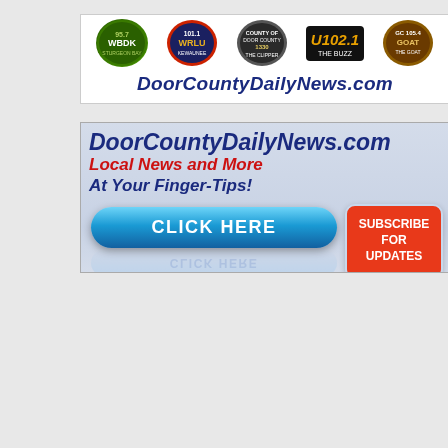[Figure (logo): Radio station logos banner with DoorCountyDailyNews.com branding. Shows logos for WBDK, WRLU, The Clipper 1330, U102.1, and The Goat 105.4, with website URL below.]
[Figure (infographic): DoorCountyDailyNews.com advertisement banner. Text reads 'DoorCountyDailyNews.com', 'Local News and More', 'At Your Finger-Tips!', with a blue 'CLICK HERE' button and a red speech bubble saying 'SUBSCRIBE FOR UPDATES'.]